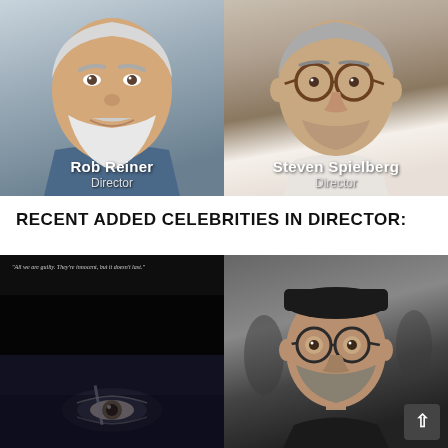[Figure (photo): Photo of Rob Reiner, director, older man with white beard and blue shirt, name overlay at bottom]
[Figure (photo): Photo of Steven Spielberg, director, older man with glasses wearing suit, name overlay at bottom]
RECENT ADDED CELEBRITIES IN DIRECTOR:
[Figure (screenshot): Dark movie screenshot with text 'All we are guilty. They're innocent, but it doesn't last.' and close-up of an eye]
[Figure (photo): Photo of a director wearing black outfit and black hat with round glasses]